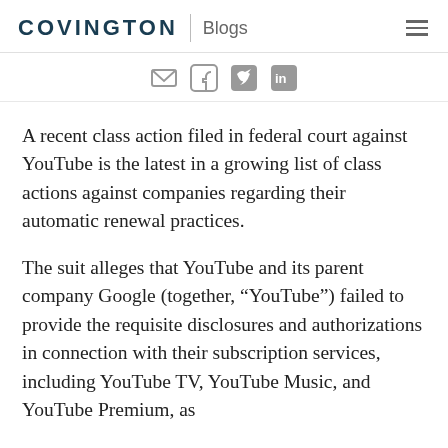COVINGTON | Blogs
[Figure (other): Social sharing icons: email, Twitter, Facebook, LinkedIn]
A recent class action filed in federal court against YouTube is the latest in a growing list of class actions against companies regarding their automatic renewal practices.
The suit alleges that YouTube and its parent company Google (together, “YouTube”) failed to provide the requisite disclosures and authorizations in connection with their subscription services, including YouTube TV, YouTube Music, and YouTube Premium, as